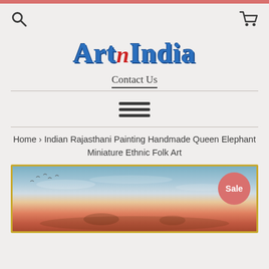ArtNIndia
Contact Us
Home › Indian Rajasthani Painting Handmade Queen Elephant Miniature Ethnic Folk Art
[Figure (photo): Painting product image showing a landscape/desert scene with warm sunset colors and a Sale badge]